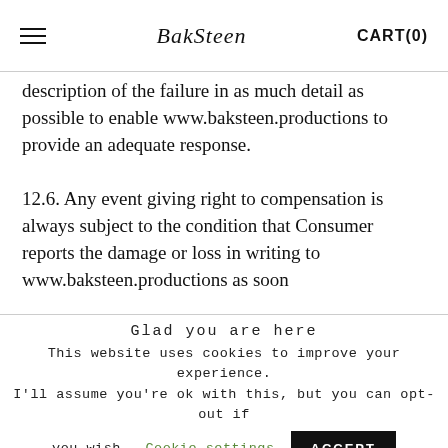≡  BakSteen  CART(0)
description of the failure in as much detail as possible to enable www.baksteen.productions to provide an adequate response.
12.6. Any event giving right to compensation is always subject to the condition that Consumer reports the damage or loss in writing to www.baksteen.productions as soon
Glad you are here
This website uses cookies to improve your experience.
I'll assume you're ok with this, but you can opt-out if you wish.
Cookie settings
ACCEPT